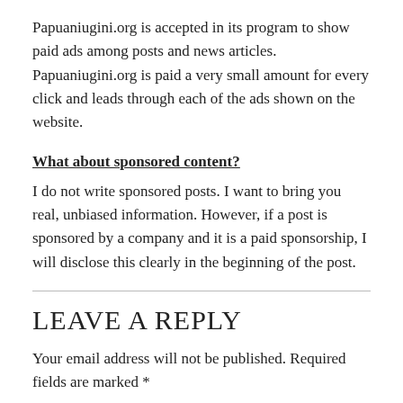Papuaniugini.org is accepted in its program to show paid ads among posts and news articles. Papuaniugini.org is paid a very small amount for every click and leads through each of the ads shown on the website.
What about sponsored content?
I do not write sponsored posts. I want to bring you real, unbiased information. However, if a post is sponsored by a company and it is a paid sponsorship, I will disclose this clearly in the beginning of the post.
LEAVE A REPLY
Your email address will not be published. Required fields are marked *
Comment *